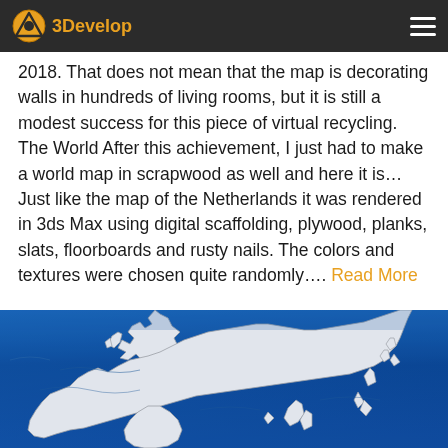3Develop [navigation header with logo and hamburger menu]
2018. That does not mean that the map is decorating walls in hundreds of living rooms, but it is still a modest success for this piece of virtual recycling. The World After this achievement, I just had to make a world map in scrapwood as well and here it is… Just like the map of the Netherlands it was rendered in 3ds Max using digital scaffolding, plywood, planks, slats, floorboards and rusty nails. The colors and textures were chosen quite randomly…. Read More
[Figure (photo): A rendered 3D world map made from scrapwood materials (plywood, planks, slats), showing blue ocean textures with white continent shapes. The image shows Europe, Asia, and surrounding oceans rendered in 3ds Max with digital scaffolding and rusty nails aesthetic.]